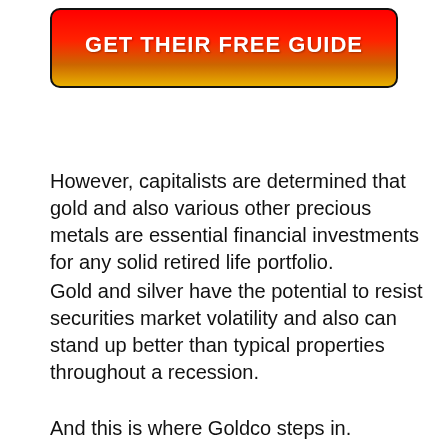[Figure (other): Red-to-gold gradient call-to-action button with text 'GET THEIR FREE GUIDE' in white bold letters, black border with rounded corners]
However, capitalists are determined that gold and also various other precious metals are essential financial investments for any solid retired life portfolio.
Gold and silver have the potential to resist securities market volatility and also can stand up better than typical properties throughout a recession.
And this is where Goldco steps in.